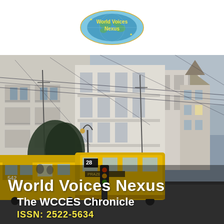[Figure (logo): World Voices Nexus logo — oval badge with globe and yellow text on blue/teal background]
[Figure (photo): Street scene in Lisbon, Portugal with yellow trams (number 28 and 542), historic European buildings with balconies, overhead tram wires, trees, and overcast sky]
World Voices Nexus
The WCCES Chronicle
ISSN: 2522-5634